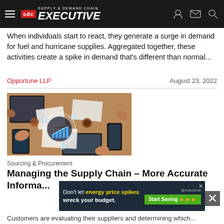Supply & Demand Chain Executive
When individuals start to react, they generate a surge in demand for fuel and hurricane supplies. Aggregated together, these activities create a spike in demand that's different than normal...
Opportune LLP
August 23, 2022
[Figure (photo): Overhead view of business meeting table with laptops, phones, documents, and a digital chart overlay]
Sourcing & Procurement
Managing the Supply Chain – More Accurate Informa...
Customers are evaluating their suppliers and determining which...
[Figure (other): Advertisement banner: Don't let energy price spikes wreck your budget. Start Saving. @industrious]